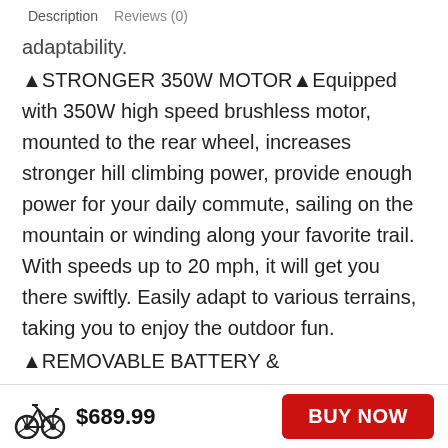Description   Reviews (0)
adaptability.
🔺STRONGER 350W MOTOR🔺Equipped with 350W high speed brushless motor, mounted to the rear wheel, increases stronger hill climbing power, provide enough power for your daily commute, sailing on the mountain or winding along your favorite trail. With speeds up to 20 mph, it will get you there swiftly. Easily adapt to various terrains, taking you to enjoy the outdoor fun.
🔺REMOVABLE BATTERY & MILEAGE🔺Equipped with smart lithium battery charger, fast charging only need 4-6 hours. The removable 36V 8AH removable battery supports 22-25mile（E-Bike Mode）to 44-50 mile（
$689.99
BUY NOW